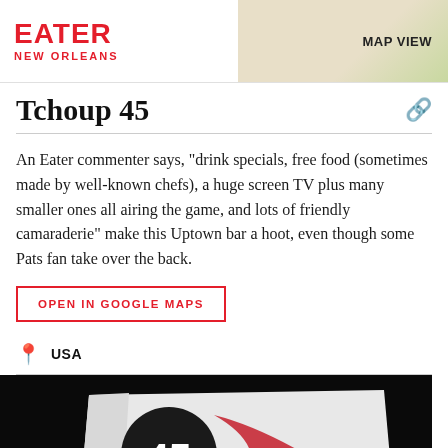EATER NEW ORLEANS
Tchoup 45
An Eater commenter says, "drink specials, free food (sometimes made by well-known chefs), a huge screen TV plus many smaller ones all airing the game, and lots of friendly camaraderie" make this Uptown bar a hoot, even though some Pats fan take over the back.
OPEN IN GOOGLE MAPS
USA
[Figure (photo): Sign for Tchoup 45 bar showing the number 45 and 'tchoup' text on a white sign with red graphic elements against a dark background]